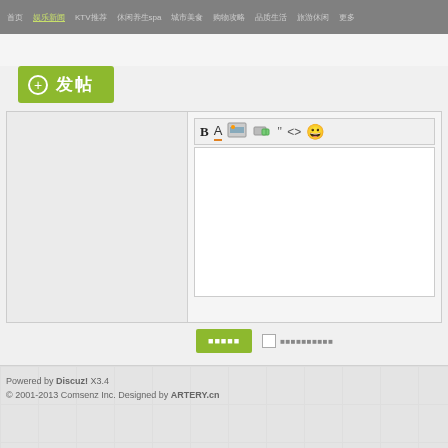首页 | 娱乐新闻 | KTV推荐 | 休闲养生spa | 城市美食 | 购物攻略 | 品质生活 | 旅游休闲 | 更多
[Figure (screenshot): Green post button with plus icon and Chinese text 发帖]
[Figure (screenshot): Forum post editor with toolbar (Bold, Font, Image, Link, Quote, Code, Emoji buttons), text area, submit button, and checkbox]
Powered by Discuz! X3.4
© 2001-2013 Comsenz Inc. Designed by ARTERY.cn